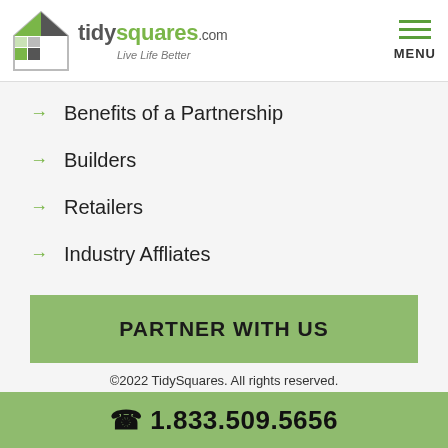tidysquares.com Live Life Better | MENU
Benefits of a Partnership
Builders
Retailers
Industry Affliates
PARTNER WITH US
©2022 TidySquares. All rights reserved. Web Development by Xi Digital
1.833.509.5656